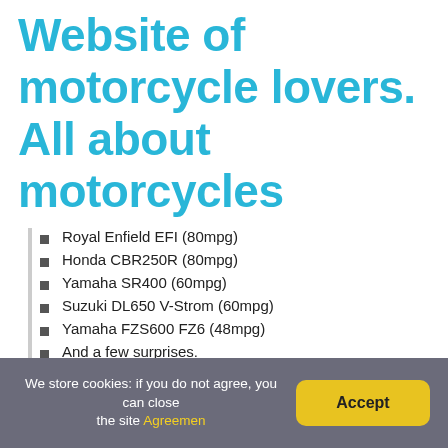Website of motorcycle lovers. All about motorcycles
Royal Enfield EFI (80mpg)
Honda CBR250R (80mpg)
Yamaha SR400 (60mpg)
Suzuki DL650 V-Strom (60mpg)
Yamaha FZS600 FZ6 (48mpg)
And a few surprises.
We store cookies: if you do not agree, you can close the site Agreemen